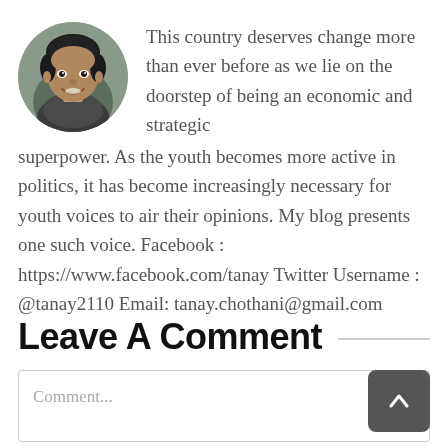[Figure (photo): Circular avatar photo of a young man smiling, with dark hair, shown from shoulders up against a blurred outdoor background.]
This country deserves change more than ever before as we lie on the doorstep of being an economic and strategic superpower. As the youth becomes more active in politics, it has become increasingly necessary for youth voices to air their opinions. My blog presents one such voice. Facebook : https://www.facebook.com/tanay Twitter Username : @tanay2110 Email: tanay.chothani@gmail.com
Leave A Comment
Comment...